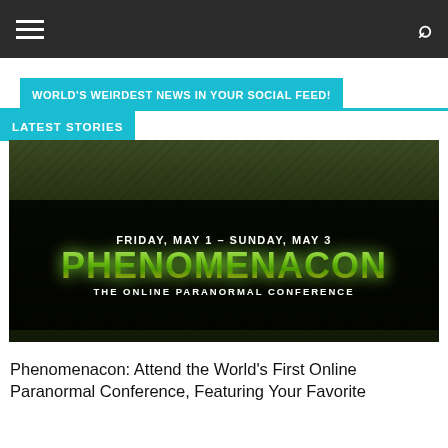WORLD'S WEIRDEST NEWS IN YOUR SOCIAL FEED!
LATEST STORIES
[Figure (photo): Phenomenacon event banner: dark green textured background with black band showing 'FRIDAY, MAY 1 – SUNDAY, MAY 3' and large green stylized text 'PHENOMENACON' with subtitle 'THE ONLINE PARANORMAL CONFERENCE']
Phenomenacon: Attend the World's First Online Paranormal Conference, Featuring Your Favorite